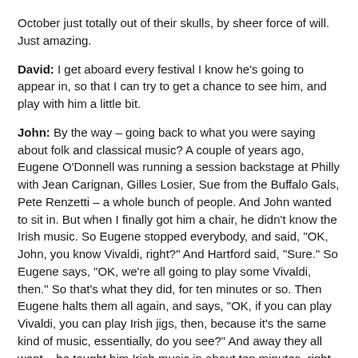October just totally out of their skulls, by sheer force of will. Just amazing.
David: I get aboard every festival I know he's going to appear in, so that I can try to get a chance to see him, and play with him a little bit.
John: By the way – going back to what you were saying about folk and classical music? A couple of years ago, Eugene O'Donnell was running a session backstage at Philly with Jean Carignan, Gilles Losier, Sue from the Buffalo Gals, Pete Renzetti – a whole bunch of people. And John wanted to sit in. But when I finally got him a chair, he didn't know the Irish music. So Eugene stopped everybody, and said, "OK, John, you know Vivaldi, right?" And Hartford said, "Sure." So Eugene says, "OK, we're all going to play some Vivaldi, then." So that's what they did, for ten minutes or so. Then Eugene halts them all again, and says, "OK, if you can play Vivaldi, you can play Irish jigs, then, because it's the same kind of music, essentially, do you see?" And away they all went – he taught him Irish music in about ten minutes, right on the spot, using Vivaldi!